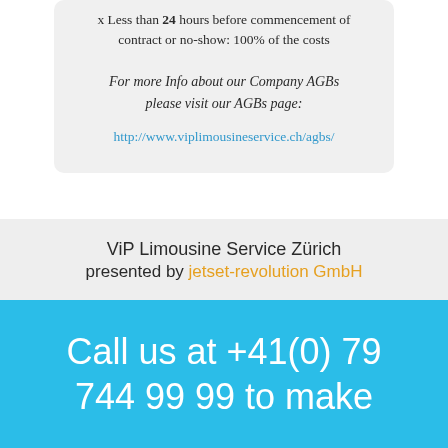x Less than 24 hours before commencement of contract or no-show: 100% of the costs
For more Info about our Company AGBs please visit our AGBs page:
http://www.viplimousineservice.ch/agbs/
ViP Limousine Service Zürich presented by jetset-revolution GmbH
Call us at +41(0) 79 744 99 99 to make